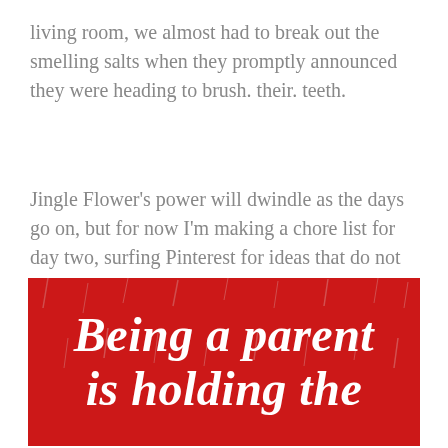living room, we almost had to break out the smelling salts when they promptly announced they were heading to brush. their. teeth.
Jingle Flower's power will dwindle as the days go on, but for now I'm making a chore list for day two, surfing Pinterest for ideas that do not involve home renovation for elf placement, and enjoying the extra dose of Christmas magic he brought into a house full of kids who are still young enough to believe.
[Figure (infographic): Red background banner with white decorative text reading 'Being a parent is holding the' with snowflake/snow texture overlay]